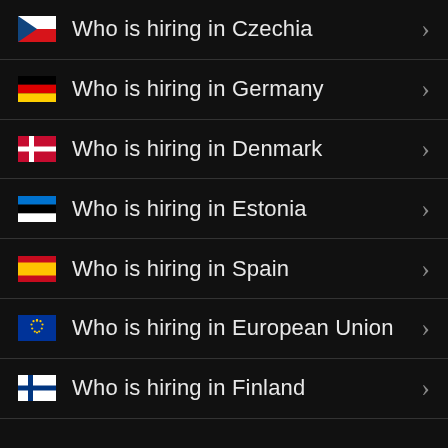Who is hiring in Czechia
Who is hiring in Germany
Who is hiring in Denmark
Who is hiring in Estonia
Who is hiring in Spain
Who is hiring in European Union
Who is hiring in Finland